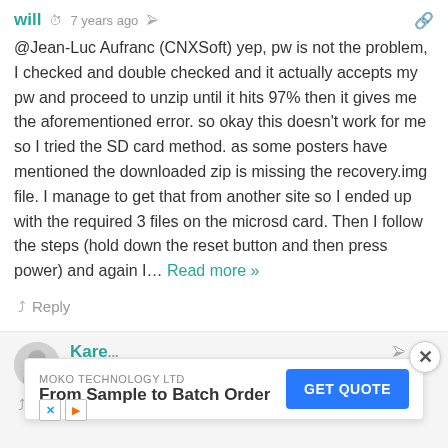will · 7 years ago
@Jean-Luc Aufranc (CNXSoft) yep, pw is not the problem, I checked and double checked and it actually accepts my pw and proceed to unzip until it hits 97% then it gives me the aforementioned error. so okay this doesn't work for me so I tried the SD card method. as some posters have mentioned the downloaded zip is missing the recovery.img file. I manage to get that from another site so I ended up with the required 3 files on the microsd card. Then I follow the steps (hold down the reset button and then press power) and again I… Read more »
Reply
Kare... · [share]
How ... The comp... tem!
Reply
[Figure (infographic): Advertisement overlay: MOKO TECHNOLOGY LTD - From Sample to Batch Order - GET QUOTE button, with close X button and ad icons]